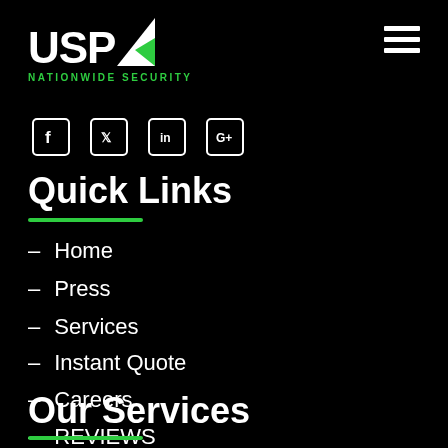[Figure (logo): USPA Nationwide Security logo with white bold text USPA and green triangle, green subtitle NATIONWIDE SECURITY]
[Figure (other): Hamburger menu icon (three white horizontal bars)]
[Figure (other): Social media icons: Facebook, Twitter, LinkedIn, Google+]
Quick Links
- Home
- Press
- Services
- Instant Quote
- Careers
- REVIEWS
Our Services